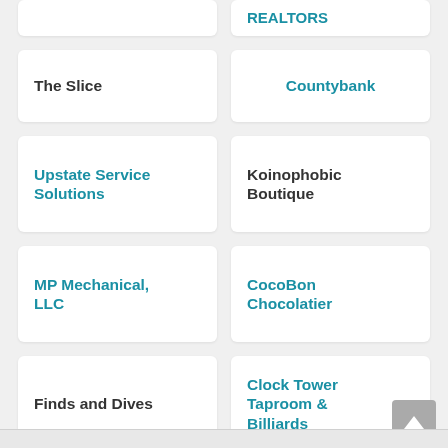REALTORS
The Slice
Countybank
Upstate Service Solutions
Koinophobic Boutique
MP Mechanical, LLC
CocoBon Chocolatier
Finds and Dives
Clock Tower Taproom & Billiards